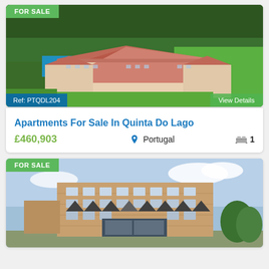[Figure (photo): Aerial photo of large resort-style apartment complex with red/terracotta rooftop, surrounded by greenery and golf course, with 'FOR SALE' badge, ref PTQDL204, and 'View Details' button]
Apartments For Sale In Quinta Do Lago
£460,903  Portugal  1 (bedroom)
[Figure (photo): Modern multi-storey hotel/apartment building with stone facade, triangular roofline features, blue sky background, with 'FOR SALE' badge]